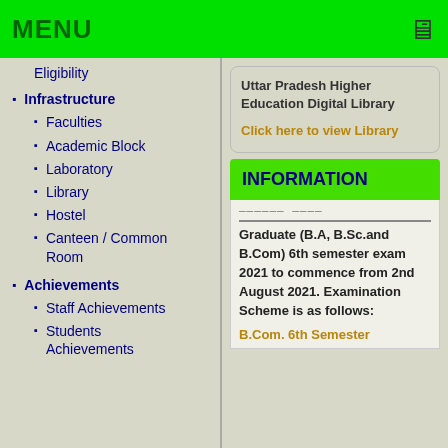MENU
Eligibility
Infrastructure
Faculties
Academic Block
Laboratory
Library
Hostel
Canteen / Common Room
Achievements
Staff Achievements
Students Achievements
Uttar Pradesh Higher Education Digital Library
Click here to view Library
INFORMATION
Graduate (B.A, B.Sc.and B.Com) 6th semester exam 2021 to commence from 2nd August 2021. Examination Scheme is as follows:
B.Com. 6th Semester